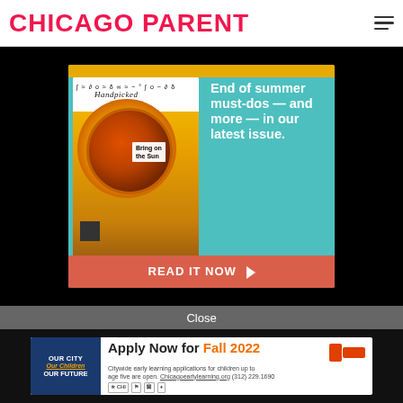CHICAGO PARENT
[Figure (screenshot): Chicago Parent magazine promotional banner showing a Handpicked magazine cover with a sunflower image and the text 'End of summer must-dos — and more — in our latest issue.' with a 'READ IT NOW' call-to-action button]
Close
[Figure (screenshot): Advertisement for Chicago Early Learning: 'Apply Now for Fall 2022. Citywide early learning applications for children up to age five are open. Chicagoearlylearning.org (312) 229.1690' with city logos]